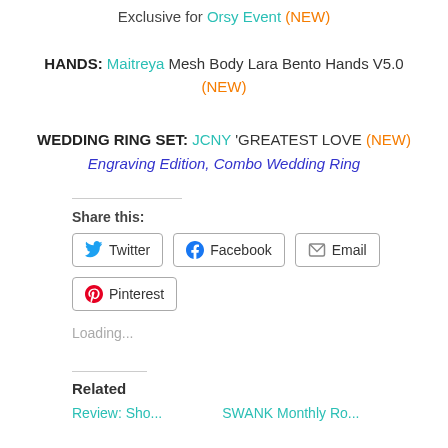Exclusive for Orsy Event (NEW)
HANDS: Maitreya Mesh Body Lara Bento Hands V5.0 (NEW)
WEDDING RING SET: JCNY 'GREATEST LOVE (NEW) Engraving Edition, Combo Wedding Ring
Share this:
Twitter Facebook Email Pinterest
Loading...
Related
Related links